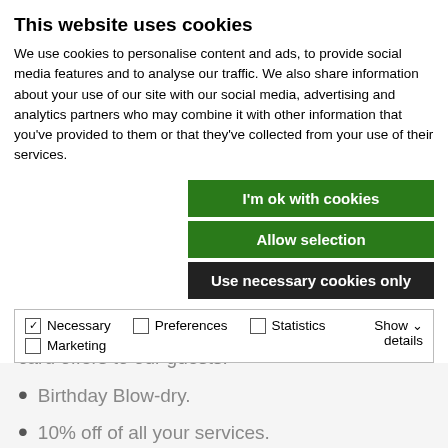This website uses cookies
We use cookies to personalise content and ads, to provide social media features and to analyse our traffic. We also share information about your use of our site with our social media, advertising and analytics partners who may combine it with other information that you've provided to them or that they've collected from your use of their services.
[Figure (screenshot): Three buttons: 'I'm ok with cookies' (green), 'Allow selection' (green), 'Use necessary cookies only' (dark/black)]
| ✓ Necessary | ☐ Preferences | ☐ Statistics | Show details ∨ |
| ☐ Marketing |  |  |  |
See below for all the money-saving deals this card offers to our guests:
Birthday Blow-dry.
10% off of all your services.
Monthly deals – only available to Gold